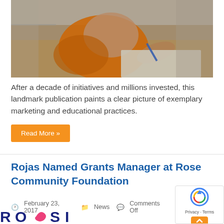[Figure (photo): Child in orange clothing drawing or writing on a surface, viewed from above in a classroom setting]
After a decade of initiatives and millions invested, this landmark publication paints a clear picture of exemplary marketing and educational practices.
Read More »
Rojas Named Grants Manager at Rose Community Foundation
February 23, 2017   News   Comments Off
[Figure (logo): Rose Community Foundation logo — partial view showing ROSI letters in dark blue with a pink/red swirl graphic]